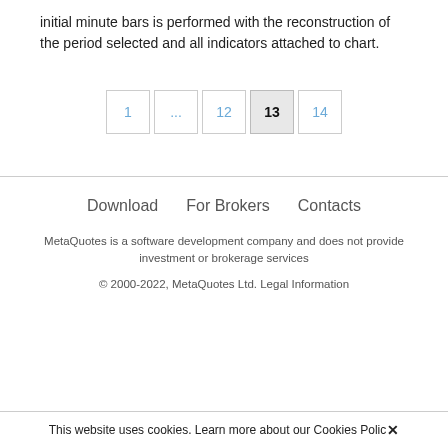initial minute bars is performed with the reconstruction of the period selected and all indicators attached to chart.
1 ... 12 13 14
Download   For Brokers   Contacts
MetaQuotes is a software development company and does not provide investment or brokerage services
© 2000-2022, MetaQuotes Ltd. Legal Information
This website uses cookies. Learn more about our Cookies Policy ✕